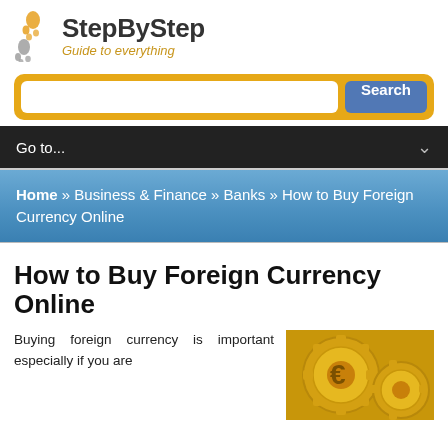[Figure (logo): StepByStep logo with two footprint icons (one orange, one grey) and text 'StepByStep' in bold dark grey with tagline 'Guide to everything' in gold italic]
[Figure (screenshot): Search bar with orange border, white input field, and blue 'Search' button]
Go to...
Home » Business & Finance » Banks » How to Buy Foreign Currency Online
How to Buy Foreign Currency Online
Buying foreign currency is important especially if you are
[Figure (photo): Close-up photo of gold coins and gears with a euro symbol, representing foreign currency]